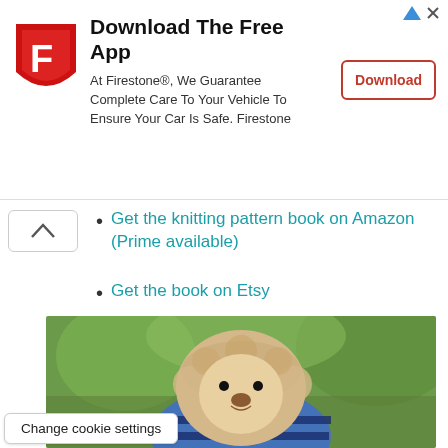[Figure (infographic): Firestone advertisement banner with Firestone shield logo, headline 'Download The Free App', body text, and Download button. Small ad icons in top right corner.]
Get the knitting pattern book on Amazon (Prime available)
Get the book on Etsy
[Figure (photo): A knitted lion toy with a fluffy mane, wearing a blue and dark navy striped sweater and teal trousers, photographed outdoors with blurred green foliage background.]
Change cookie settings